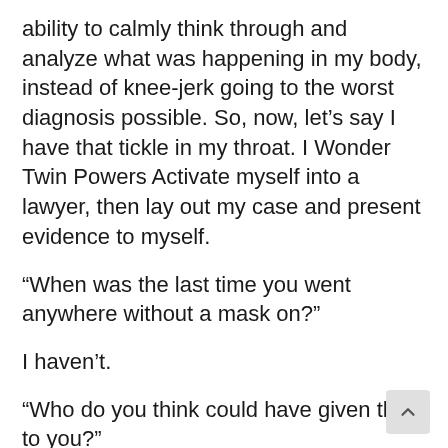ability to calmly think through and analyze what was happening in my body, instead of knee-jerk going to the worst diagnosis possible. So, now, let’s say I have that tickle in my throat. I Wonder Twin Powers Activate myself into a lawyer, then lay out my case and present evidence to myself.
“When was the last time you went anywhere without a mask on?”
I haven’t.
“Who do you think could have given this to you?”
Nobody.
“In what situation have you been exposed to anyone or anything with COVID?”